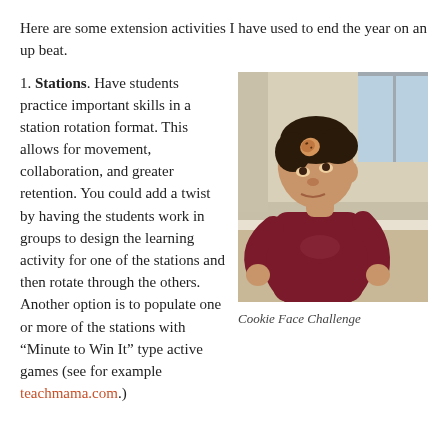Here are some extension activities I have used to end the year on an up beat.
1. Stations. Have students practice important skills in a station rotation format. This allows for movement, collaboration, and greater retention. You could add a twist by having the students work in groups to design the learning activity for one of the stations and then rotate through the others. Another option is to populate one or more of the stations with “Minute to Win It” type active games (see for example teachmama.com.)
[Figure (photo): A young boy in a maroon t-shirt looking upward with a cookie on his forehead, attempting the Cookie Face Challenge.]
Cookie Face Challenge